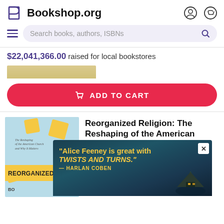Bookshop.org
Search books, authors, ISBNs
$22,041,366.00 raised for local bookstores
ADD TO CART
Reorganized Religion: The Reshaping of the American Church...
Bob Smietana
$27.00
[Figure (screenshot): Advertisement overlay with quote: 'Alice Feeney is great with TWISTS AND TURNS.' — HARLAN COBEN, with background image of a house on rocky coast at dusk]